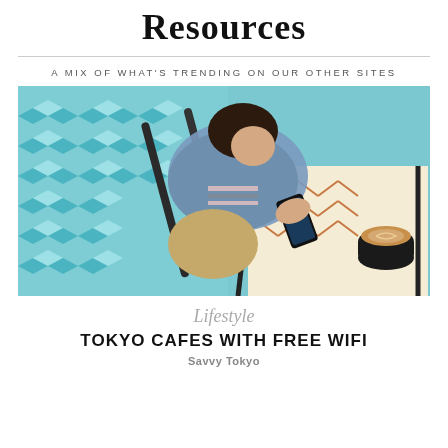Resources
A MIX OF WHAT'S TRENDING ON OUR OTHER SITES
[Figure (photo): Overhead view of a young woman in a denim jacket sitting in a chair at a cafe table, looking at her smartphone, with a latte coffee cup on the table and decorative tiled floor with teal/blue geometric and chevron patterns]
Lifestyle
TOKYO CAFES WITH FREE WIFI
Savvy Tokyo